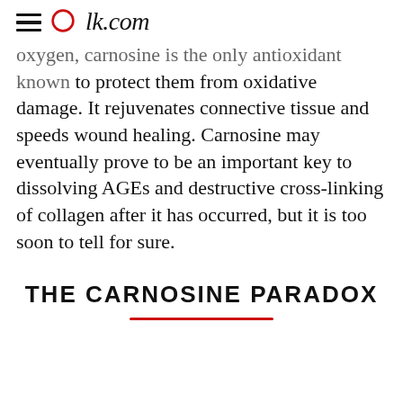Olk.com
oxygen, carnosine is the only antioxidant known to protect them from oxidative damage. It rejuvenates connective tissue and speeds wound healing. Carnosine may eventually prove to be an important key to dissolving AGEs and destructive cross-linking of collagen after it has occurred, but it is too soon to tell for sure.
THE CARNOSINE PARADOX